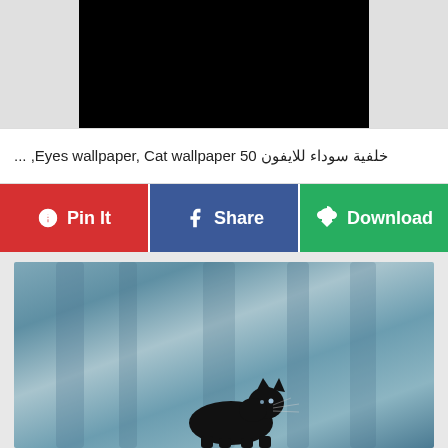[Figure (photo): Black rectangle placeholder image at top center on gray background]
خلفية سوداء للايفون 50 Eyes wallpaper, Cat wallpaper, ...
[Figure (infographic): Three social sharing buttons: Pin It (red, Pinterest), Share (blue, Facebook), Download (green)]
[Figure (photo): Black panther walking in misty blue-gray forest background]